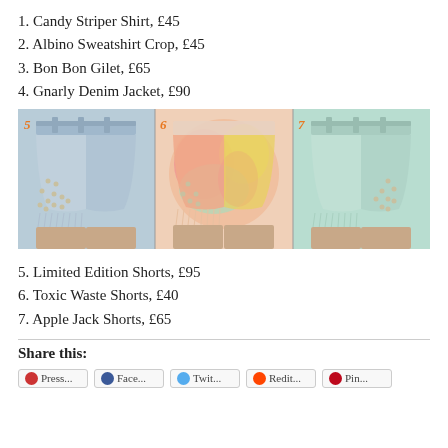1. Candy Striper Shirt, £45
2. Albino Sweatshirt Crop, £45
3. Bon Bon Gilet, £65
4. Gnarly Denim Jacket, £90
[Figure (photo): Three pairs of studded denim shorts side by side, labeled 5, 6, and 7. Number 5 is light blue with silver studs, number 6 is tie-dye multicolor with studs, number 7 is mint green with studs. All have frayed hems.]
5. Limited Edition Shorts, £95
6. Toxic Waste Shorts, £40
7. Apple Jack Shorts, £65
Share this: